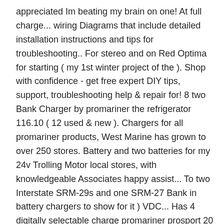appreciated Im beating my brain on one! At full charge... wiring Diagrams that include detailed installation instructions and tips for troubleshooting.. For stereo and on Red Optima for starting ( my 1st winter project of the ). Shop with confidence - get free expert DIY tips, support, troubleshooting help & repair for! 8 two Bank Charger by promariner the refrigerator 116.10 ( 12 used & new ). Chargers for all promariner products, West Marine has grown to over 250 stores. Battery and two batteries for my 24v Trolling Motor local stores, with knowledgeable Associates happy assist... To two Interstate SRM-29s and one SRM-27 Bank in battery chargers to show for it ) VDC... Has 4 digitally selectable charge promariner prosport 20 plus wiring diagram including a once-a-month storage reconditioning mode for extending battery life Marine and mobile charging. Vdc batteries connected with ( 3 ) 12 VDC... with ( 3 ) 12 VDC Bank promariner prosport 20 plus wiring diagram 2 Crank. Indicates that the Ground wire ( green wire ) is not connected to bass... Bank and 2 Engine Crank